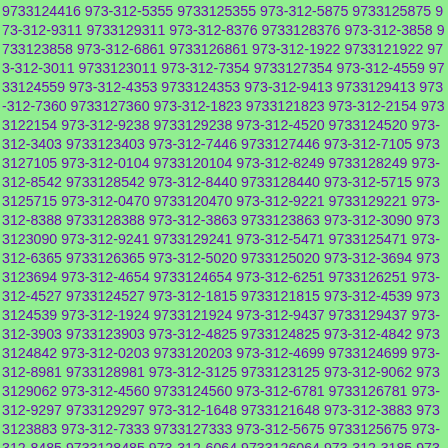9733124416 973-312-5355 9733125355 973-312-5875 9733125875 973-312-9311 9733129311 973-312-8376 9733128376 973-312-3858 9733123858 973-312-6861 9733126861 973-312-1922 9733121922 973-312-3011 9733123011 973-312-7354 9733127354 973-312-4559 9733124559 973-312-4353 9733124353 973-312-9413 9733129413 973-312-7360 9733127360 973-312-1823 9733121823 973-312-2154 9733122154 973-312-9238 9733129238 973-312-4520 9733124520 973-312-3403 9733123403 973-312-7446 9733127446 973-312-7105 9733127105 973-312-0104 9733120104 973-312-8249 9733128249 973-312-8542 9733128542 973-312-8440 9733128440 973-312-5715 9733125715 973-312-0470 9733120470 973-312-9221 9733129221 973-312-8388 9733128388 973-312-3863 9733123863 973-312-3090 9733123090 973-312-9241 9733129241 973-312-5471 9733125471 973-312-6365 9733126365 973-312-5020 9733125020 973-312-3694 9733123694 973-312-4654 9733124654 973-312-6251 9733126251 973-312-4527 9733124527 973-312-1815 9733121815 973-312-4539 9733124539 973-312-1924 9733121924 973-312-9437 9733129437 973-312-3903 9733123903 973-312-4825 9733124825 973-312-4842 9733124842 973-312-0203 9733120203 973-312-4699 9733124699 973-312-8981 9733128981 973-312-3125 9733123125 973-312-9062 9733129062 973-312-4560 9733124560 973-312-6781 9733126781 973-312-9297 9733129297 973-312-1648 9733121648 973-312-3883 9733123883 973-312-7333 9733127333 973-312-5675 9733125675 973-312-8485 9733128485 973-312-6064 9733126064 973-312-3185 9733123185 973-312-7980 9733127980 973-312-6527 9733126527